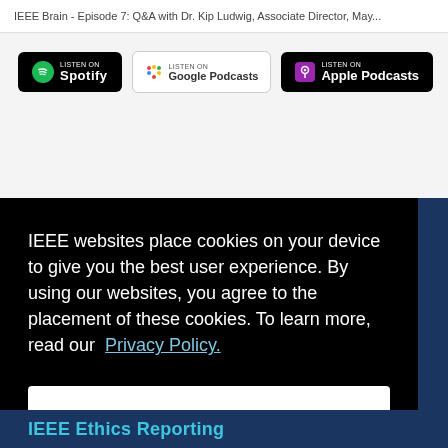IEEE Brain - Episode 7: Q&A with Dr. Kip Ludwig, Associate Director, May...
[Figure (other): Listen on Spotify badge (black background with Spotify logo)]
[Figure (other): Listen on Google Podcasts badge (white background with Google Podcasts logo)]
[Figure (other): Listen on Apple Podcasts badge (black background with podcast icon)]
« Previous  1  2  3  Next »
IEEE websites place cookies on your device to give you the best user experience. By using our websites, you agree to the placement of these cookies. To learn more, read our Privacy Policy.
Accept & Close
IEEE Ethics Reporting